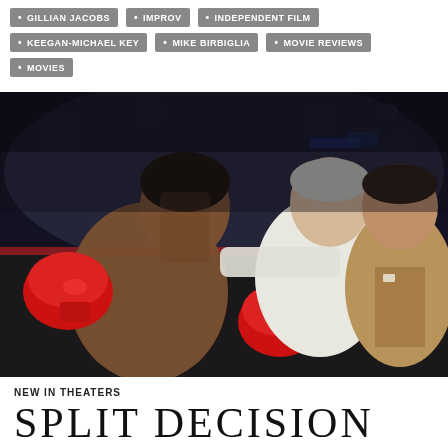GILLIAN JACOBS
IMPROV
INDEPENDENT FILM
KEEGAN-MICHAEL KEY
MIKE BIRBIGLIA
MOVIE REVIEWS
MOVIES
[Figure (photo): Three men in a boxing ring setting. On the left is a shirtless boxer wearing red boxing gloves. In the center is an older white-haired man in a white shirt placing his hand on the boxer's shoulder. On the right is a man in a tan/brown suit. The background shows a boxing arena.]
NEW IN THEATERS
SPLIT DECISION